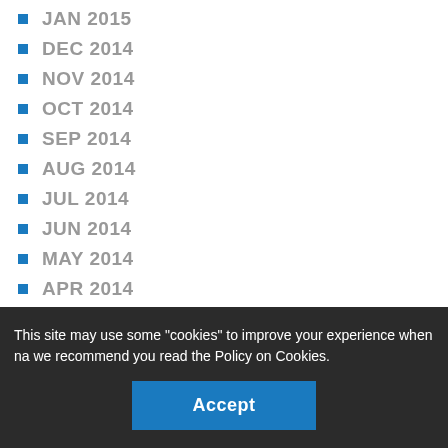JAN 2015
DEC 2014
NOV 2014
OCT 2014
SEP 2014
AUG 2014
JUL 2014
JUN 2014
MAY 2014
APR 2014
MAR 2014
FEB 2014
JAN 2014
This site may use some "cookies" to improve your experience when na we recommend you read the Policy on Cookies.
Accept